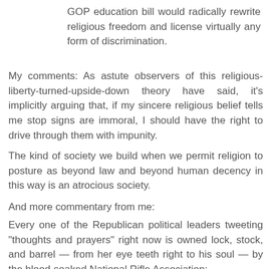GOP education bill would radically rewrite religious freedom and license virtually any form of discrimination.
My comments: As astute observers of this religious-liberty-turned-upside-down theory have said, it's implicitly arguing that, if my sincere religious belief tells me stop signs are immoral, I should have the right to drive through them with impunity.
The kind of society we build when we permit religion to posture as beyond law and beyond human decency in this way is an atrocious society.
And more commentary from me:
Every one of the Republican political leaders tweeting "thoughts and prayers" right now is owned lock, stock, and barrel — from her eye teeth right to his soul — by the blood-soaked National Rifle Association: